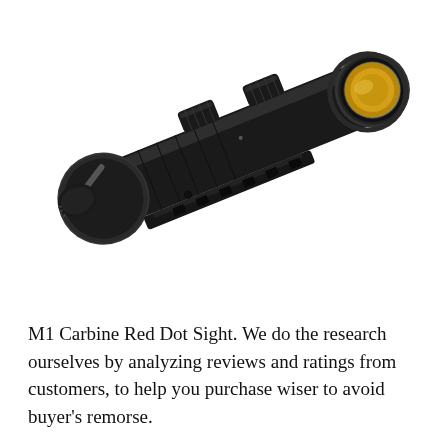[Figure (photo): Close-up product photo of a black M1 Carbine Red Dot Sight scope tilted at an angle, showing the objective lens with amber/gold coating on the right side, adjustment turrets and caps on top, and a rail mount on the bottom. White background.]
M1 Carbine Red Dot Sight. We do the research ourselves by analyzing reviews and ratings from customers, to help you purchase wiser to avoid buyer’s remorse.